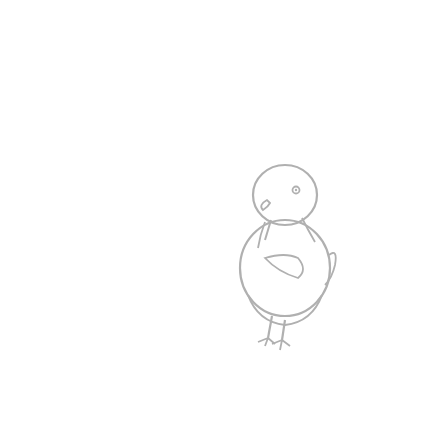[Figure (illustration): A light gray outline illustration of a small baby chick (duckling) facing left, with a round fluffy body, small beak, tiny eye, wing detail, and two small feet visible. The drawing is minimal and delicate, rendered in a soft gray color on a white background.]